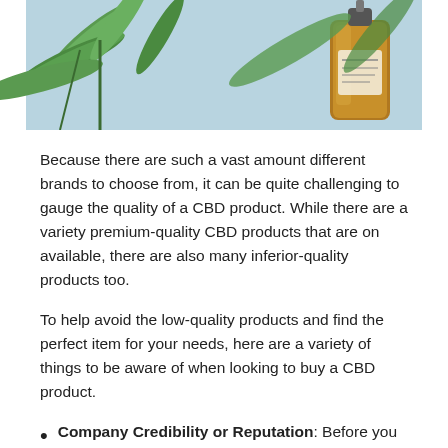[Figure (photo): A bottle of CBD oil (amber glass dropper bottle) with green cannabis/hemp leaves in the background against a light blue sky background.]
Because there are such a vast amount different brands to choose from, it can be quite challenging to gauge the quality of a CBD product. While there are a variety premium-quality CBD products that are on available, there are also many inferior-quality products too.
To help avoid the low-quality products and find the perfect item for your needs, here are a variety of things to be aware of when looking to buy a CBD product.
Company Credibility or Reputation: Before you purchase any CBD product, it's important to do a little bit of due dilligence. Search the brand and the product and check that both have a good standing reputation with past shoppers